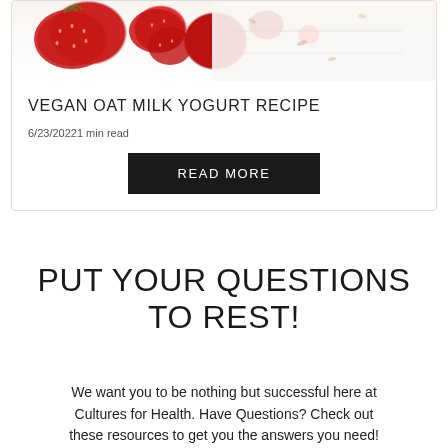[Figure (photo): Strawberries and oats on a white background, partial view at top of card]
VEGAN OAT MILK YOGURT RECIPE
6/23/20221 min read
READ MORE
PUT YOUR QUESTIONS TO REST!
We want you to be nothing but successful here at Cultures for Health. Have Questions? Check out these resources to get you the answers you need!